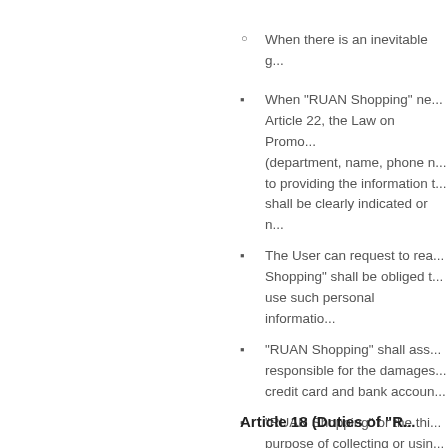When there is an inevitable g...
When "RUAN Shopping" ne... Article 22, the Law on Promo... (department, name, phone n... to providing the information t... shall be clearly indicated or n...
The User can request to rea... Shopping" shall be obliged t... use such personal informatio...
"RUAN Shopping" shall ass... responsible for the damages... credit card and bank accoun...
"RUAN Shopping" or the thi... purpose of collecting or usin...
Article 18 (Duties of "R...